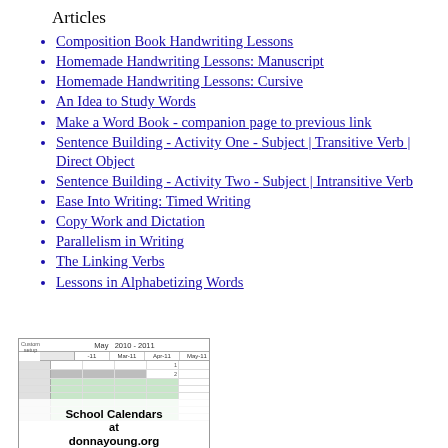Articles
Composition Book Handwriting Lessons
Homemade Handwriting Lessons: Manuscript
Homemade Handwriting Lessons: Cursive
An Idea to Study Words
Make a Word Book - companion page to previous link
Sentence Building - Activity One - Subject | Transitive Verb | Direct Object
Sentence Building - Activity Two - Subject | Intransitive Verb
Ease Into Writing: Timed Writing
Copy Work and Dictation
Parallelism in Writing
The Linking Verbs
Lessons in Alphabetizing Words
[Figure (screenshot): School Calendars at donnayoung.org - screenshot of a spreadsheet calendar showing May 2010-2011 with columns for Mar-11, Apr-11, May-11 and green/gray shaded rows. Overlay text reads 'School Calendars at donnayoung.org']